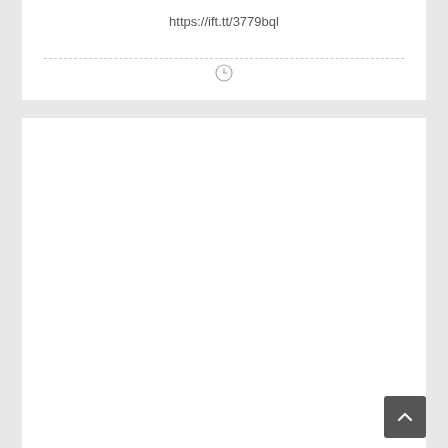https://ift.tt/3779bql
[Figure (other): Clock/time icon indicating loading or pending state]
[Figure (other): Large blank white card area below the URL card]
[Figure (other): Back-to-top button with upward chevron arrow in bottom right corner]